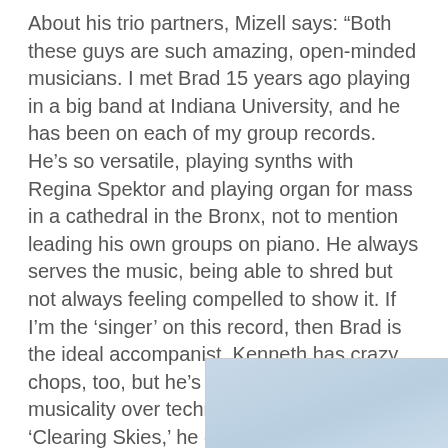About his trio partners, Mizell says: “Both these guys are such amazing, open-minded musicians. I met Brad 15 years ago playing in a big band at Indiana University, and he has been on each of my group records. He’s so versatile, playing synths with Regina Spektor and playing organ for mass in a cathedral in the Bronx, not to mention leading his own groups on piano. He always serves the music, being able to shred but not always feeling compelled to show it. If I’m the ‘singer’ on this record, then Brad is the ideal accompanist. Kenneth has crazy chops, too, but he’s also about favoring musicality over technique. In the song ‘Clearing Skies,’ he orchestrates this long, slow burn ideally; he stokes the dynamic energy of a track as well as any drummer I’ve heard.”
[Figure (photo): Partial view of a light blue/grey image, appears to be a sky or abstract background, cropped at bottom of page.]